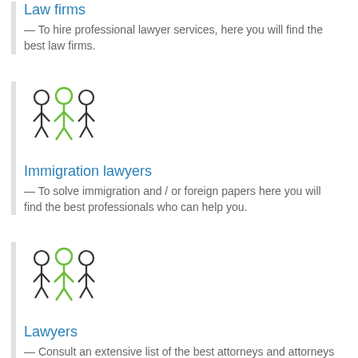Law firms
— To hire professional lawyer services, here you will find the best law firms.
[Figure (illustration): Icon of three people figures with green accent, representing a group of professionals]
Immigration lawyers
— To solve immigration and / or foreign papers here you will find the best professionals who can help you.
[Figure (illustration): Icon of three people figures with green accent, representing a group of professionals]
Lawyers
— Consult an extensive list of the best attorneys and attorneys with a wide range of services. Professional quality services for you.